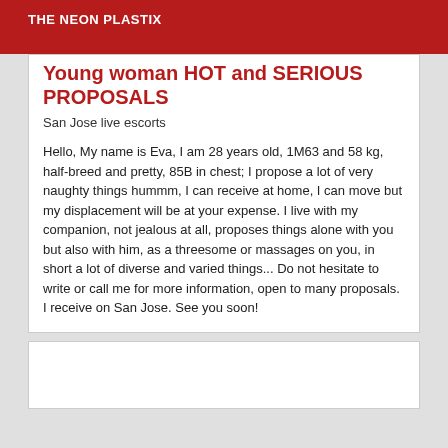THE NEON PLASTIX
Young woman HOT and SERIOUS PROPOSALS
San Jose live escorts
Hello, My name is Eva, I am 28 years old, 1M63 and 58 kg, half-breed and pretty, 85B in chest; I propose a lot of very naughty things hummm, I can receive at home, I can move but my displacement will be at your expense. I live with my companion, not jealous at all, proposes things alone with you but also with him, as a threesome or massages on you, in short a lot of diverse and varied things... Do not hesitate to write or call me for more information, open to many proposals. I receive on San Jose. See you soon!